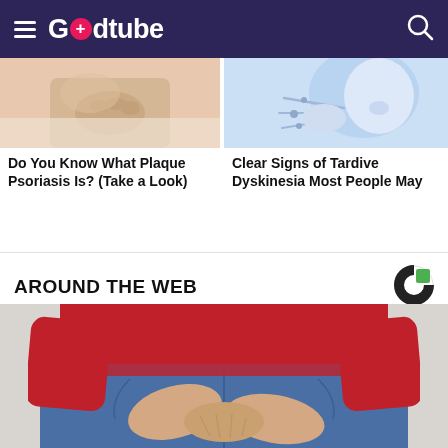Godtube
[Figure (photo): Thumbnail image of a person touching their chest area, related to plaque psoriasis article]
Do You Know What Plaque Psoriasis Is? (Take a Look)
[Figure (photo): Thumbnail image of an illustration showing someone sneezing or facial movement, related to Tardive Dyskinesia article]
Clear Signs of Tardive Dyskinesia Most People May
AROUND THE WEB
[Figure (photo): Large photo of a person from behind wearing a red long-sleeve top and blue jeans, with hands clasped behind their back at waist level]